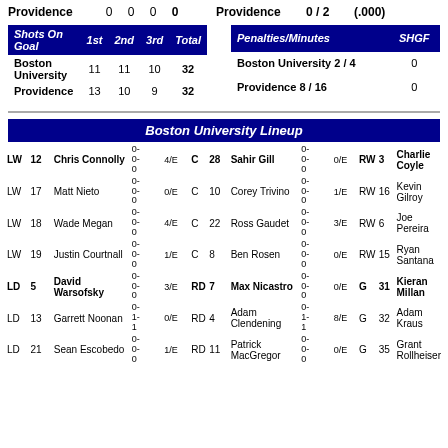| Team | Score1 | Score2 | Score3 | Total | Team | PP | SHGF |
| --- | --- | --- | --- | --- | --- | --- | --- |
| Providence | 0 | 0 | 0 | 0 | Providence | 0 / 2 | (.000) |
| Shots On Goal | 1st | 2nd | 3rd | Total |
| --- | --- | --- | --- | --- |
| Boston University | 11 | 11 | 10 | 32 |
| Providence | 13 | 10 | 9 | 32 |
| Penalties/Minutes | SHGF |
| --- | --- |
| Boston University | 2 / 4 | 0 |
| Providence | 8 / 16 | 0 |
Boston University Lineup
| Pos | Num | Name | Stats | FO | Pos | Num | Name | Stats | FO | Pos | Num | Name |
| --- | --- | --- | --- | --- | --- | --- | --- | --- | --- | --- | --- | --- |
| LW | 12 | Chris Connolly | 0-0-0 | 4/E | C | 28 | Sahir Gill | 0-0-0 | 0/E | RW | 3 | Charlie Coyle |
| LW | 17 | Matt Nieto | 0-0-0 | 0/E | C | 10 | Corey Trivino | 0-0-0 | 1/E | RW | 16 | Kevin Gilroy |
| LW | 18 | Wade Megan | 0-0-0 | 4/E | C | 22 | Ross Gaudet | 0-0-0 | 3/E | RW | 6 | Joe Pereira |
| LW | 19 | Justin Courtnall | 0-0-0 | 1/E | C | 8 | Ben Rosen | 0-0-0 | 0/E | RW | 15 | Ryan Santana |
| LD | 5 | David Warsofsky | 0-0-0 | 3/E | RD | 7 | Max Nicastro | 0-0-0 | 0/E | G | 31 | Kieran Millan |
| LD | 13 | Garrett Noonan | 0-1-1 | 0/E | RD | 4 | Adam Clendening | 0-1-1 | 8/E | G | 32 | Adam Kraus |
| LD | 21 | Sean Escobedo | 0-0-0 | 1/E | RD | 11 | Patrick MacGregor | 0-0-0 | 0/E | G | 35 | Grant Rollheiser |